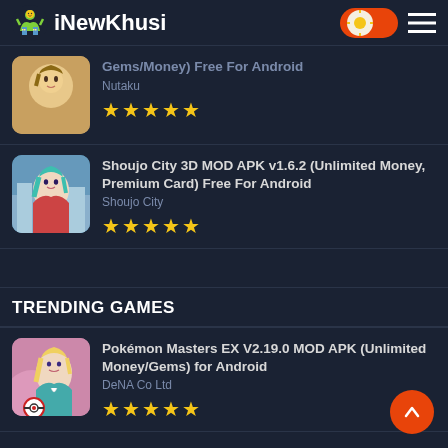iNewKhusi
Gems/Money) Free For Android — Nutaku — ★★★★★
Shoujo City 3D MOD APK v1.6.2 (Unlimited Money, Premium Card) Free For Android — Shoujo City — ★★★★★
TRENDING GAMES
Pokémon Masters EX V2.19.0 MOD APK (Unlimited Money/Gems) for Android — DeNA Co Ltd — ★★★★★